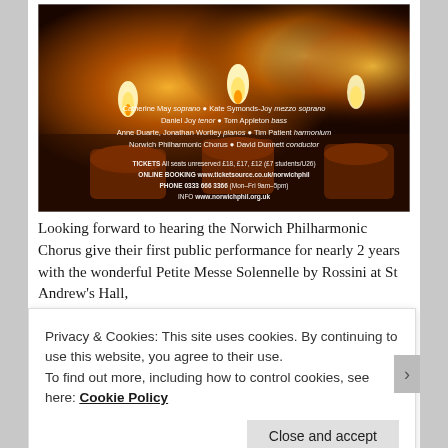[Figure (photo): Concert advertisement image showing glowing candles in amber/orange tones with text overlay listing performers: Catherine May soprano, Kate Symonds-Joy mezzo soprano, Daniel Joy tenor, Tom Appleton bass, Anne Duarte, Jonathan Wortley pianos, Tim Patient harmonium, Norwich Philharmonic Chorus, David Dunnett conductor. Ticket info: All seats unreserved £18, £17, £12 (£7 students/U26). Online booking: www.ticketsource.co.uk/norwichphil. Phone: 0333 666 3366 (Mon–Fri 9am–5pm). Info: www.norwichphil.org.uk]
Looking forward to hearing the Norwich Philharmonic Chorus give their first public performance for nearly 2 years with the wonderful Petite Messe Solennelle by Rossini at St Andrew's Hall,
Privacy & Cookies: This site uses cookies. By continuing to use this website, you agree to their use.
To find out more, including how to control cookies, see here: Cookie Policy